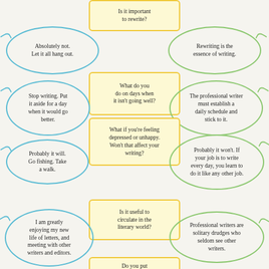[Figure (illustration): Yellow box question bubble: 'Is it important to rewrite?']
[Figure (illustration): Blue speech bubble: 'Absolutely not. Let it all hang out.']
[Figure (illustration): Green speech bubble: 'Rewriting is the essence of writing.']
[Figure (illustration): Yellow box question: 'What do you do on days when it isn't going well?']
[Figure (illustration): Blue speech bubble: 'Stop writing. Put it aside for a day when it would go better.']
[Figure (illustration): Green speech bubble: 'The professional writer must establish a daily schedule and stick to it.']
[Figure (illustration): Yellow box question: 'What if you're feeling depressed or unhappy. Won't that affect your writing?']
[Figure (illustration): Blue speech bubble: 'Probably it will. Go fishing. Take a walk.']
[Figure (illustration): Green speech bubble: 'Probably it won't. If your job is to write every day, you learn to do it like any other job.']
[Figure (illustration): Yellow box question: 'Is it useful to circulate in the literary world?']
[Figure (illustration): Blue speech bubble: 'I am greatly enjoying my new life of letters, and meeting with other writers and editors.']
[Figure (illustration): Green speech bubble: 'Professional writers are solitary drudges who seldom see other writers.']
[Figure (illustration): Yellow box question (partial): 'Do you put']